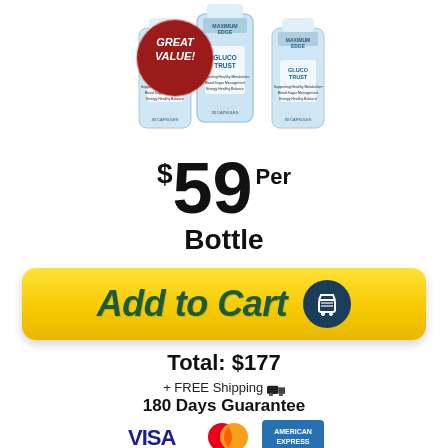[Figure (photo): Three bottles of GlucoTrust supplement with a dark red circular badge reading 'GREAT VALUE!']
$59 Per Bottle
[Figure (other): Yellow 'Add to Cart' button with dark teal shopping cart icon]
Total: $177
+ FREE Shipping 🚚
180 Days Guarantee
[Figure (other): Payment logos: VISA, Mastercard, American Express]